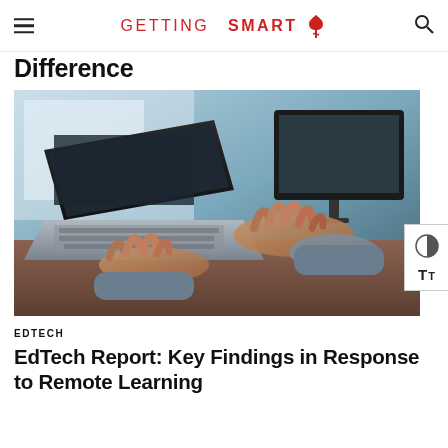GETTING SMART
Difference
[Figure (photo): Hands typing on a laptop keyboard with a monitor in the background, close-up shot]
EDTECH
EdTech Report: Key Findings in Response to Remote Learning